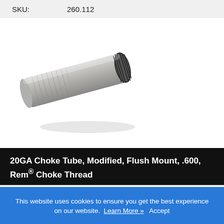| SKU: | 260.112 |
| --- | --- |
[Figure (photo): A metal shotgun choke tube, flush mount style, shown at an angle revealing the threaded exterior and serrated muzzle end.]
20GA Choke Tube, Modified, Flush Mount, .600, Rem® Choke Thread
| SKU: | 260.115 |
| --- | --- |
This website uses cookies to ensure you get the best experience on our website. Learn More » Accept